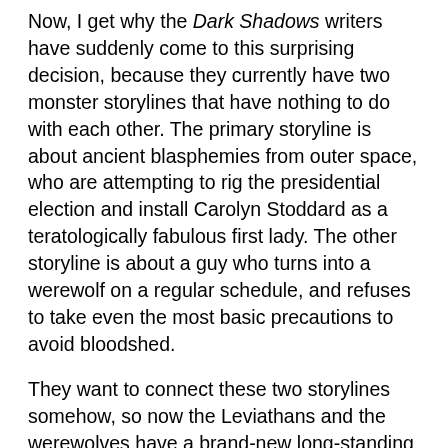Now, I get why the Dark Shadows writers have suddenly come to this surprising decision, because they currently have two monster storylines that have nothing to do with each other. The primary storyline is about ancient blasphemies from outer space, who are attempting to rig the presidential election and install Carolyn Stoddard as a teratologically fabulous first lady. The other storyline is about a guy who turns into a werewolf on a regular schedule, and refuses to take even the most basic precautions to avoid bloodshed.
They want to connect these two storylines somehow, so now the Leviathans and the werewolves have a brand-new long-standing feud that dates back to a time before man existed, when there was only essence and intelligence, and none of these shapes that human beings wear today. That’s not me saying that, mind you, that’s dialogue from Dark Shadows. “Before man existed,” the Leviathan guy said, “when there was only essence and